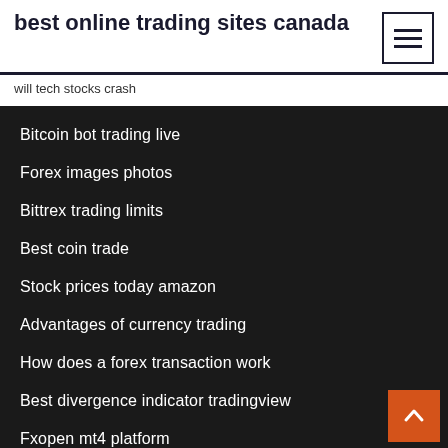best online trading sites canada
will tech stocks crash
Bitcoin bot trading live
Forex images photos
Bittrex trading limits
Best coin trade
Stock prices today amazon
Advantages of currency trading
How does a forex transaction work
Best divergence indicator tradingview
Fxopen mt4 platform
Iq trading app download